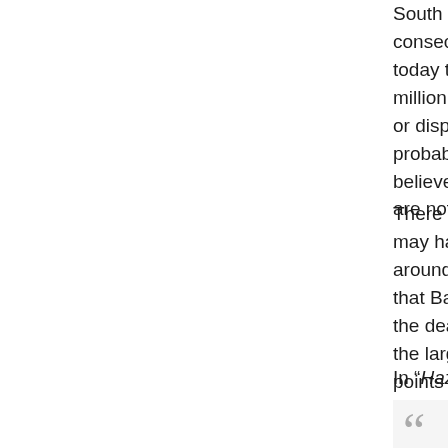South of France and Spain — where the plague struck consecutively, it was probably closer to... today that would be equivalent to reducing... million to 75 million in less than four years... or dispose of around 225 million corpses... probably closer to 20%. Northeastern G... believed to have suffered less for some... are not entirely satisfactory).
There are no estimates available for Ru... may have suffered little, if at all. Africa l... around 80 million to 70 million). (These... that Baillie brings up: the variability of d... the death rate in any given location, the... the largest death toll from any known pa... points out, nobody really knows what it...
In “Hazard to Civilization from Fireballs...
Confronted on many occasions in the...